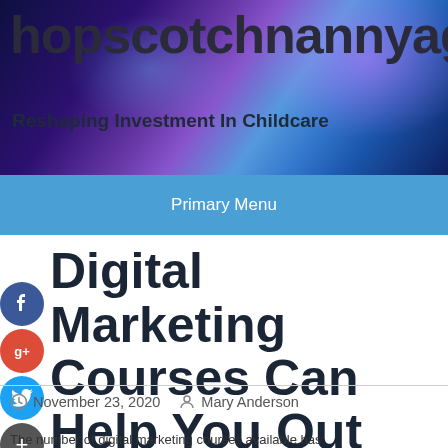hopscotchnannyagenc
Reshaping Investment In Childcare
Primary Menu
Digital Marketing Courses Can Help You Out
November 23, 2020   Mary Anderson
The number of digital marketing courses available has